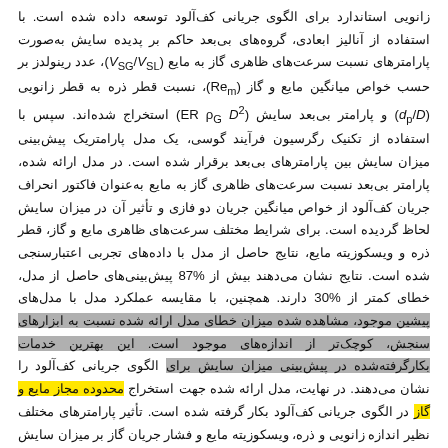زانویی استاندارد برای الگوی جریانی کف‌آلود توسعه داده شده است. با استفاده از آنالیز ابعادی، گروه‌های بی‌بعد حاکم بر پدیده سایش به‌صورت پارامترهای نسبت سرعت‌های ظاهری گاز به مایع (VSG/VSL)، عدد رینولدز بر حسب خواص میانگین مایع و گاز (Rem)، نسبت قطر ذره به قطر زانویی (dp/D) و پارامتر بی‌بعد سایش (ER ρG D²) استخراج شده‌اند. سپس با استفاده از تکنیک رگرسیون فرآیند گوسی، یک مدل پارامتریک پیش‌بینی میزان سایش بین پارامترهای بی‌بعد برقرار شده است. در مدل ارائه شده، پارامتر بی‌بعد نسبت سرعت‌های ظاهری گاز به مایع به‌عنوان فاکتور انحراف جریان کف‌آلود از خواص میانگین جریان دو فازی و تأثیر آن در میزان سایش لحاظ گردیده است. برای شرایط مختلف سرعت‌های ظاهری مایع و گاز، قطر ذره و ویسکوزیته مایع، نتایج حاصل از مدل با داده‌های تجربی اعتبارسنجی شده است. نتایج نشان می‌دهند بیش از 87% پیش‌بینی‌های حاصل از مدل، خطای کمتر از 30% دارند. همچنین، با مقایسه عملکرد مدل با مدل‌های پیشین موجود، مشاهده شده میزان خطای مدل ارائه شده نسبت به ابزارهای سنجش، کوچک‌تر از اندازه‌های موجود است. این بهترین خدمات، بکارگرفته‌شده در پیش‌بینی میزان سایش برای الگوی جریانی کف‌آلود را نشان می‌دهند. در نهایت، مدل ارائه شده جهت استخراج محدوده مجاز مایع و گاز در الگوی جریانی کف‌آلود بکار گرفته شده است. تأثیر پارامترهای مختلف نظیر اندازه زانویی و ذره، ویسکوزیته مایع و فشار جریان گاز بر میزان سایش و سرعت‌های مجاز سیال در جریان کف‌آلود بررسی و تحلیل شده‌اند.